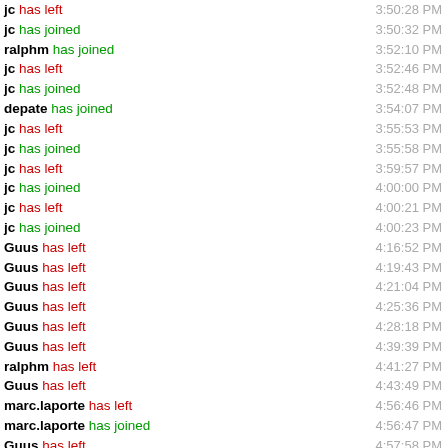jc has left 3:50:28 PM
jc has joined 3:50:32 PM
ralphm has joined 3:52:10 PM
jc has left 3:52:46 PM
jc has joined 3:52:48 PM
depate has joined 3:54:07 PM
jc has left 3:55:53 PM
jc has joined 3:55:58 PM
jc has left 3:59:57 PM
jc has joined 4:00:00 PM
jc has left 4:00:21 PM
jc has joined 4:00:23 PM
Guus has left 4:16:52 PM
Guus has left 4:19:43 PM
Guus has left 4:21:04 PM
Guus has left 4:25:36 PM
Guus has left 4:28:18 PM
Guus has left 4:39:39 PM
ralphm has left 4:41:27 PM
Guus has left 4:43:49 PM
marc.laporte has left 4:56:46 PM
marc.laporte has joined 4:56:47 PM
Guus has left 4:57:58 PM
Guus has left 4:59:57 PM
ralphm has joined 5:01:...